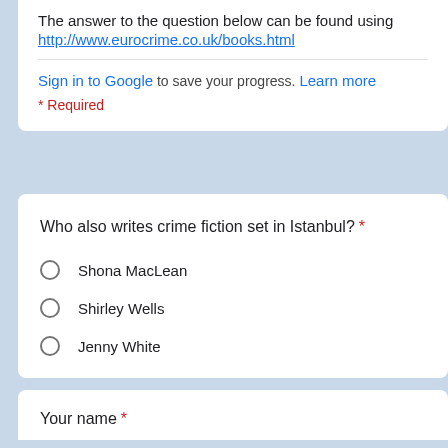The answer to the question below can be found using http://www.eurocrime.co.uk/books.html
Sign in to Google to save your progress. Learn more
* Required
Who also writes crime fiction set in Istanbul? *
Shona MacLean
Shirley Wells
Jenny White
Your name *